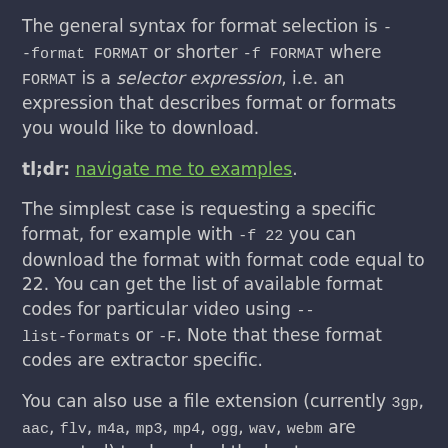The general syntax for format selection is --format FORMAT or shorter -f FORMAT where FORMAT is a selector expression, i.e. an expression that describes format or formats you would like to download.
tl;dr: navigate me to examples.
The simplest case is requesting a specific format, for example with -f 22 you can download the format with format code equal to 22. You can get the list of available format codes for particular video using --list-formats or -F. Note that these format codes are extractor specific.
You can also use a file extension (currently 3gp, aac, flv, m4a, mp3, mp4, ogg, wav, webm are supported) to download the best